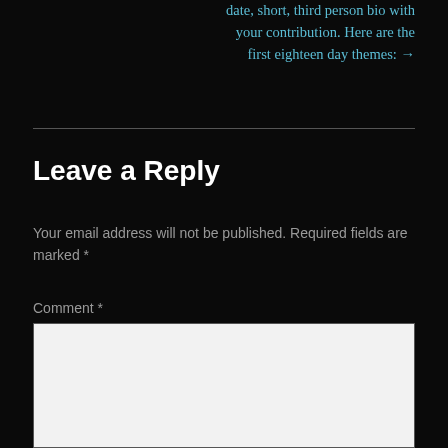date, short, third person bio with your contribution. Here are the first eighteen day themes: →
Leave a Reply
Your email address will not be published. Required fields are marked *
Comment *